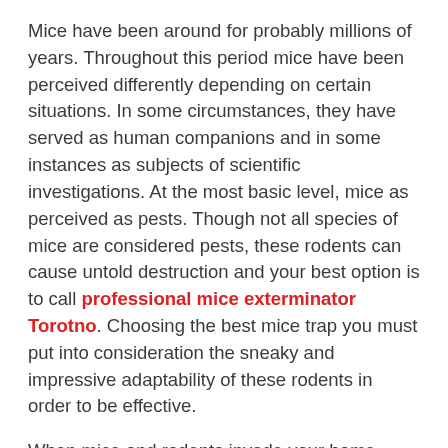Mice have been around for probably millions of years. Throughout this period mice have been perceived differently depending on certain situations. In some circumstances, they have served as human companions and in some instances as subjects of scientific investigations. At the most basic level, mice as perceived as pests. Though not all species of mice are considered pests, these rodents can cause untold destruction and your best option is to call professional mice exterminator Torotno. Choosing the best mice trap you must put into consideration the sneaky and impressive adaptability of these rodents in order to be effective.
When mice and rodents invade your home, they are likely to contaminate food, bring in disease and cause substantial property damage. Currently, there are different types of mouse traps on the market. The particular trap you choose usually depends on specific